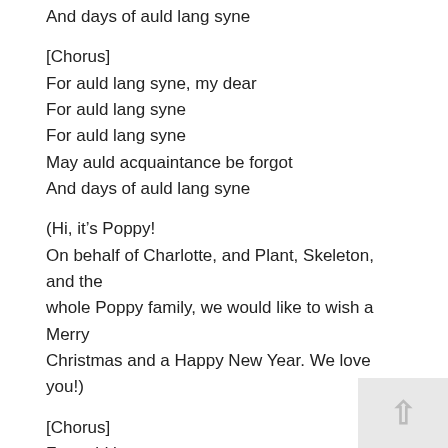And days of auld lang syne
[Chorus]
For auld lang syne, my dear
For auld lang syne
For auld lang syne
May auld acquaintance be forgot
And days of auld lang syne
(Hi, it’s Poppy!
On behalf of Charlotte, and Plant, Skeleton, and the whole Poppy family, we would like to wish a Merry Christmas and a Happy New Year. We love you!)
[Chorus]
For auld lang syne
May auld acquaintance be forgot
And days of auld lang syne